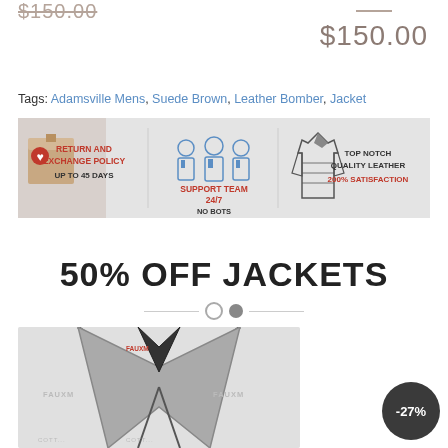$150.00 (strikethrough, top left)
$150.00 (price, top right)
Tags: Adamsville Mens, Suede Brown, Leather Bomber, Jacket
[Figure (infographic): Banner showing: Return and Exchange Policy Up to 45 Days | Support Team 24/7 No Bots | Top Notch Quality Leather 200% Satisfaction]
50% OFF JACKETS
[Figure (photo): Product image of a gray jacket collar area with FAUXM branding labels, shown from the top]
-27%